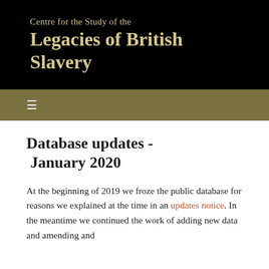Centre for the Study of the Legacies of British Slavery
Database updates - January 2020
At the beginning of 2019 we froze the public database for reasons we explained at the time in an updates notice. In the meantime we continued the work of adding new data and amending and